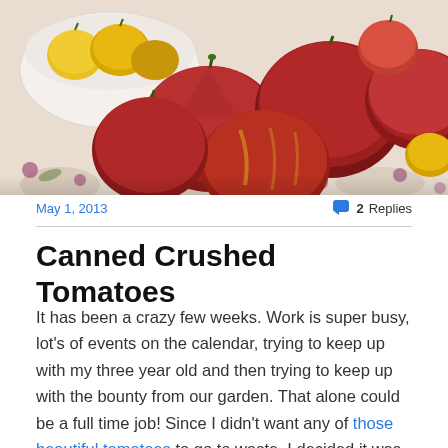[Figure (photo): A spread of heirloom tomatoes in various colors — deep red, yellow, and striped — on a floral tablecloth, with a white bowl of yellow tomatoes in the upper left.]
May 1, 2013
💬 2 Replies
Canned Crushed Tomatoes
It has been a crazy few weeks. Work is super busy, lot's of events on the calendar, trying to keep up with my three year old and then trying to keep up with the bounty from our garden. That alone could be a full time job! Since I didn't want any of those beautiful tomatoes to go to waste, I decided it was time to claim my birthright and learn to can.